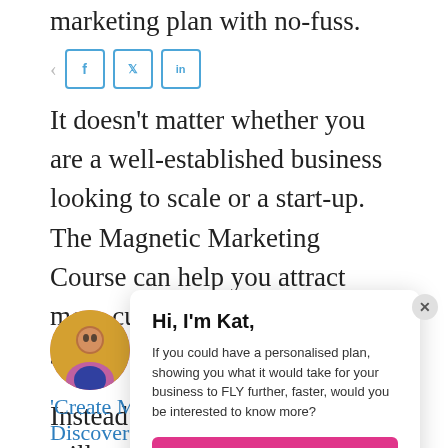marketing plan with no-fuss.
[Figure (screenshot): Share bar with Facebook, Twitter, and LinkedIn icon buttons]
It doesn't matter whether you are a well-established business looking to scale or a start-up. The Magnetic Marketing Course can help you attract more customers and increase sales.
Instead will sav creatin include see wha
[Figure (photo): Circular profile photo of a woman]
Create
'Create Magnetic Marketing Course' Discover
Hi, I'm Kat,
If you could have a personalised plan, showing you what it would take for your business to FLY further, faster, would you be interested to know more?
OK, I'm listening...